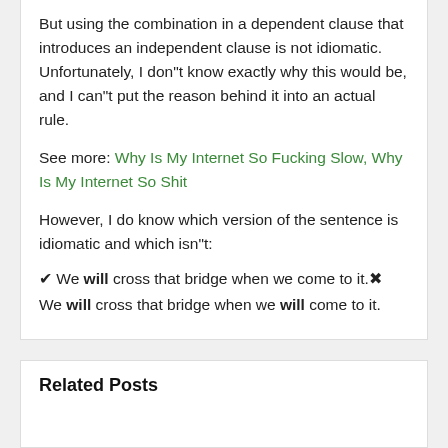But using the combination in a dependent clause that introduces an independent clause is not idiomatic. Unfortunately, I don"t know exactly why this would be, and I can"t put the reason behind it into an actual rule.
See more: Why Is My Internet So Fucking Slow, Why Is My Internet So Shit
However, I do know which version of the sentence is idiomatic and which isn"t:
✔ We will cross that bridge when we come to it. ✗ We will cross that bridge when we will come to it.
Related Posts